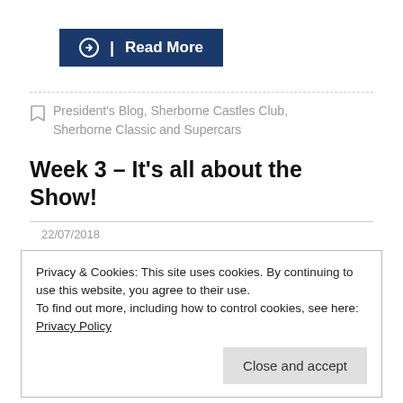Read More
President's Blog, Sherborne Castles Club, Sherborne Classic and Supercars
Week 3 – It's all about the Show!
22/07/2018
Privacy & Cookies: This site uses cookies. By continuing to use this website, you agree to their use. To find out more, including how to control cookies, see here: Privacy Policy
Close and accept
for three weeks running but this really is such a fun